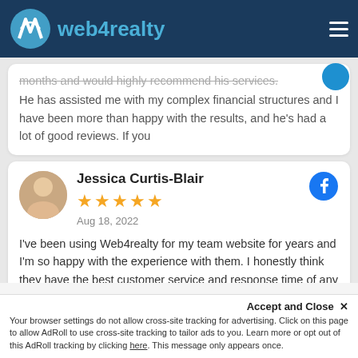web4realty
months and would highly recommend his services. He has assisted me with my complex financial structures and I have been more than happy with the results, and he's had a lot of good reviews. If you
Jessica Curtis-Blair
★★★★★
Aug 18, 2022
I've been using Web4realty for my team website for years and I'm so happy with the experience with them. I honestly think they have the best customer service and response time of any company I have ever worked with.
Ann Kirkey
Accept and Close ✕
Your browser settings do not allow cross-site tracking for advertising. Click on this page to allow AdRoll to use cross-site tracking to tailor ads to you. Learn more or opt out of this AdRoll tracking by clicking here. This message only appears once.